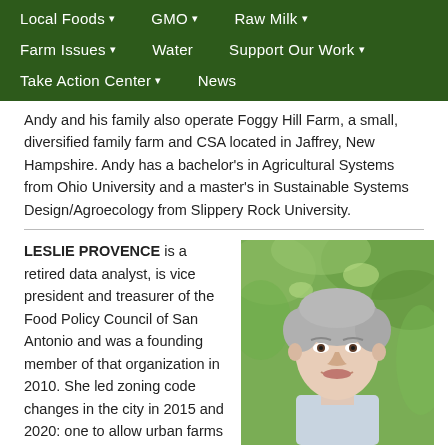Local Foods ▾   GMO ▾   Raw Milk ▾   Farm Issues ▾   Water   Support Our Work ▾   Take Action Center ▾   News
Andy and his family also operate Foggy Hill Farm, a small, diversified family farm and CSA located in Jaffrey, New Hampshire. Andy has a bachelor's in Agricultural Systems from Ohio University and a master's in Sustainable Systems Design/Agroecology from Slippery Rock University.
LESLIE PROVENCE is a retired data analyst, is vice president and treasurer of the Food Policy Council of San Antonio and was a founding member of that organization in 2010. She led zoning code changes in the city in 2015 and 2020: one to allow urban farms and the home sales of cottage foods and produce from residential market
[Figure (photo): Portrait photo of Leslie Provence, a woman with short gray hair, smiling, in front of green foliage background]